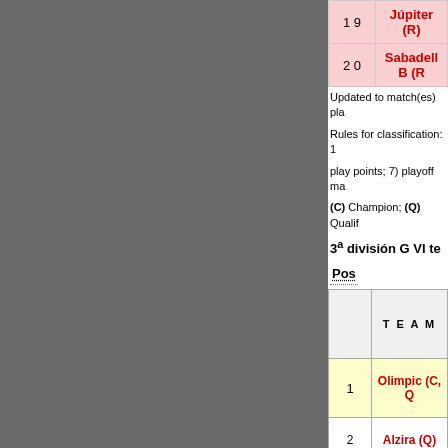| Pos | Team |
| --- | --- |
| 19 | Júpiter (R) |
| 20 | Sabadell B (R) |
Updated to match(es) pla...
Rules for classification: 1...
play points; 7) playoff ma...
(C) Champion; (Q) Qualif...
3ª división G VI te...
Pos
|  | TEAM |
| --- | --- |
| 1 | Olimpic (C, Q...) |
| 2 | Alzira (Q) |
| 3 | Ontinyent (Q) |
| 4 | Castellón (Q) |
| 5 | Orihuela |